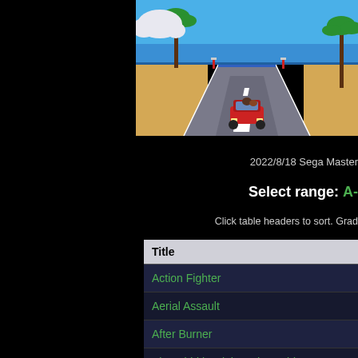[Figure (screenshot): Retro driving game screenshot showing a coastal road scene with palm trees, blue ocean/sky, sandy beach, and a red sports car driving along a gray road with white dashed lines. Pixelated 8-bit style graphics.]
2022/8/18 Sega Master
Select range: A-
Click table headers to sort. Grad
| Title |
| --- |
| Action Fighter |
| Aerial Assault |
| After Burner |
| Alex Kidd in High Tech World |